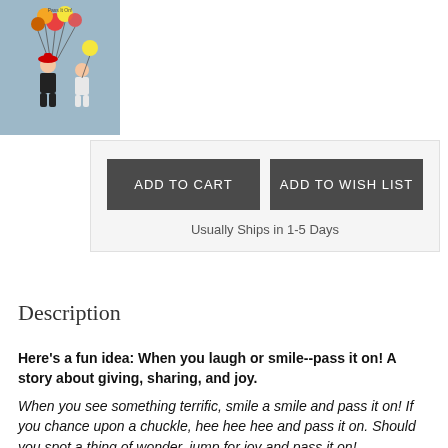[Figure (illustration): Book cover illustration showing two children in traditional clothing holding colorful balloons against a light blue background]
ADD TO CART
ADD TO WISH LIST
Usually Ships in 1-5 Days
Description
Here's a fun idea: When you laugh or smile--pass it on! A story about giving, sharing, and joy.
When you see something terrific, smile a smile and pass it on! If you chance upon a chuckle, hee hee hee and pass it on. Should you spot a thing of wonder, jump for joy and pass it on!
So begins Sophy Henn's ode to the excitement of sharing happiness with others. With a refrain that begs to be uttered before every turn of the page, children will so early read